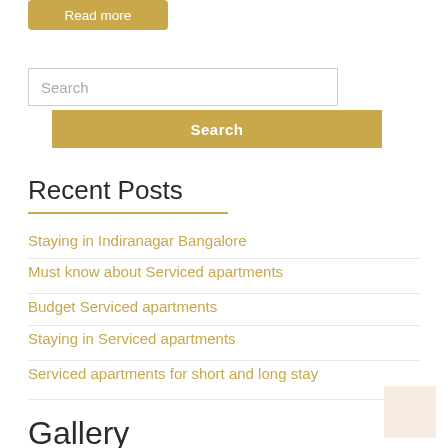Read more
Search
Search
Recent Posts
Staying in Indiranagar Bangalore
Must know about Serviced apartments
Budget Serviced apartments
Staying in Serviced apartments
Serviced apartments for short and long stay
Gallery